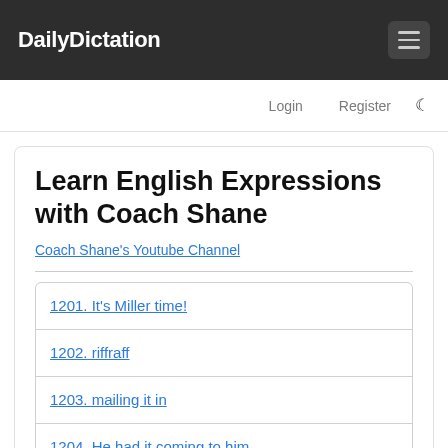DailyDictation
Login   Register
Learn English Expressions with Coach Shane
Coach Shane's Youtube Channel
1201. It's Miller time!
1202. riffraff
1203. mailing it in
1204. He had it coming to him